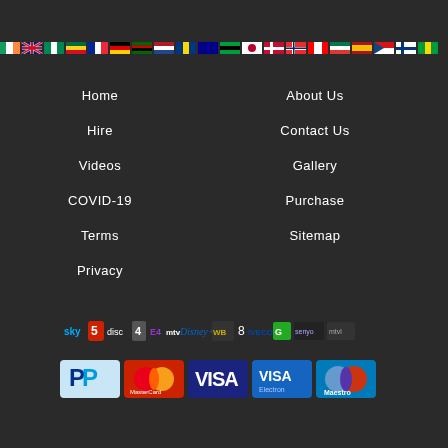[Figure (illustration): A horizontal strip of country flags at the top of the page]
Home
About Us
Hire
Contact Us
Videos
Gallery
COVID-19
Purchase
Terms
Sitemap
Privacy
[Figure (logo): A horizontal strip of brand/client logos including Sky, Channel 5, Discovery, Channel 4, E4, MTV, Disney, Warner Bros, 8, IVECO, and others]
[Figure (illustration): Payment method icons: PayPal, MasterCard, VISA, VISA Electron, Maestro]